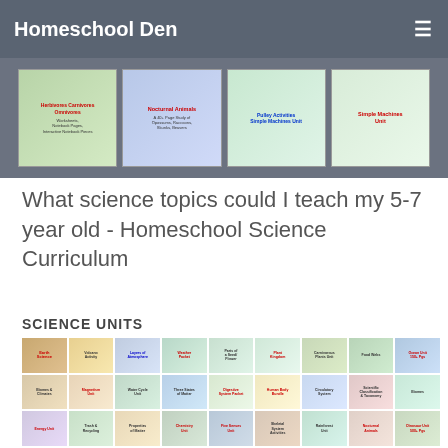Homeschool Den
[Figure (screenshot): Carousel of science curriculum cover images: Herbivores Carnivores Omnivores, Nocturnal Animals, Pulley Activities Simple Machines Unit, Simple Machines Unit]
What science topics could I teach my 5-7 year old - Homeschool Science Curriculum
SCIENCE UNITS
[Figure (screenshot): Grid of science unit cover thumbnails including Earth Science, Layers of the Atmosphere, Weather Packet, Parts of a Seed/Flower, Plant Kingdom, Carnivorous Plants, Ocean Unit, Magnetism Unit, Water Cycle Unit, Three States of Matter, Human Body Bundle, Digestive System, Circulatory System, Scientific Classification, Biomes, Energy Unit, Trash and Recycling Unit, Properties of Matter/Chemistry Unit, Five Senses Unit, Skeletal System, Rainforest Unit, Nocturnal Animals, Dinosaur Unit, and more]